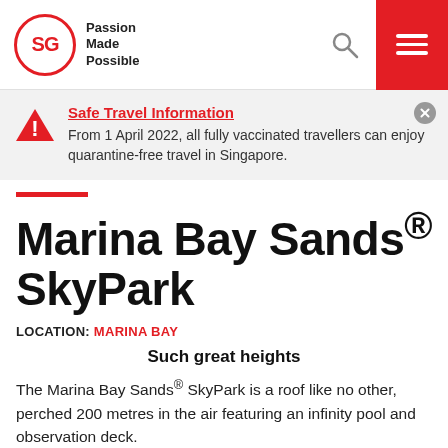SG Passion Made Possible
Safe Travel Information
From 1 April 2022, all fully vaccinated travellers can enjoy quarantine-free travel in Singapore.
Marina Bay Sands® SkyPark
LOCATION: MARINA BAY
Such great heights
The Marina Bay Sands® SkyPark is a roof like no other, perched 200 metres in the air featuring an infinity pool and observation deck.